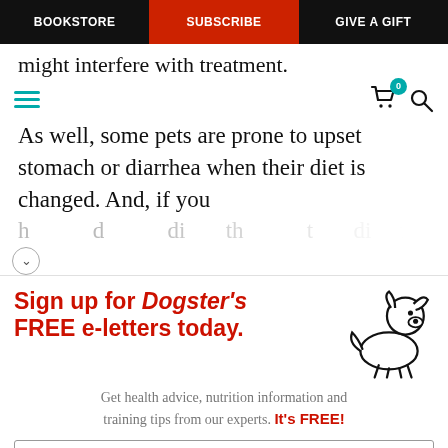BOOKSTORE | SUBSCRIBE | GIVE A GIFT
might interfere with treatment.
As well, some pets are prone to upset stomach or diarrhea when their diet is changed. And, if you
[Figure (infographic): Sign up for Dogster's FREE e-letters today. Get health advice, nutrition information and training tips from our experts. It's FREE! Email input box and YES! SIGN ME UP button.]